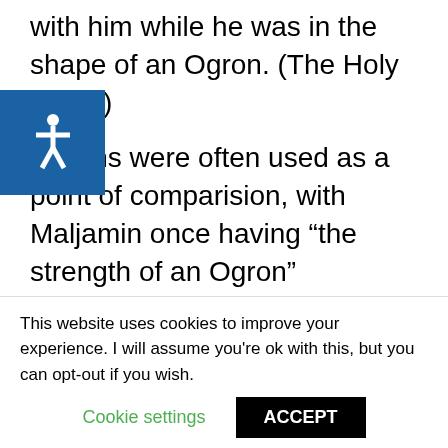with him while he was in the shape of an Ogron. (The Holy Terror)
Ogrons were often used as a point of comparision, with Maljamin once having “the strength of an Ogron” (Lungbarrow) and Mali having muscles like an Ogron. (The Ancestor Cell) Horval compared the smell of a swamp to that of an Ogron’s
This website uses cookies to improve your experience. I will assume you're ok with this, but you can opt-out if you wish.
Cookie settings  ACCEPT